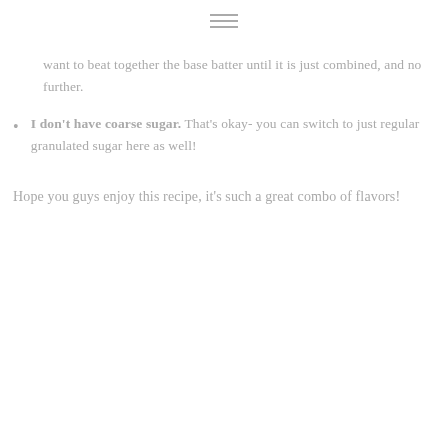[Figure (other): Hamburger menu icon (three horizontal lines)]
want to beat together the base batter until it is just combined, and no further.
I don't have coarse sugar. That's okay- you can switch to just regular granulated sugar here as well!
Hope you guys enjoy this recipe, it's such a great combo of flavors!